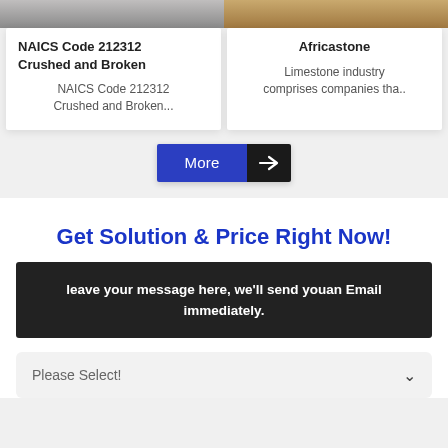[Figure (photo): Two side-by-side image strips at the top of the page — left strip showing metallic/industrial material, right strip showing wooden/stone material]
NAICS Code 212312 Crushed and Broken
NAICS Code 212312 Crushed and Broken...
Africastone
Limestone industry comprises companies tha..
More →
Get Solution & Price Right Now!
leave your message here, we'll send youan Email immediately.
Please Select!